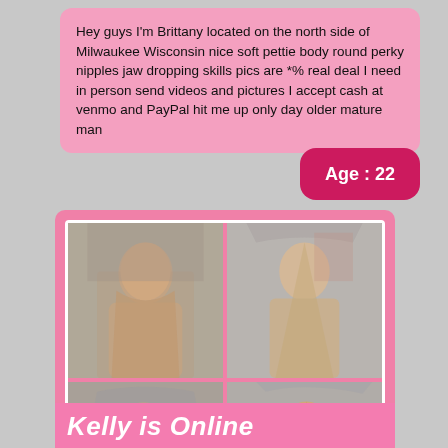Hey guys I'm Brittany located on the north side of Milwaukee Wisconsin nice soft pettie body round perky nipples jaw dropping skills pics are *% real deal I need in person send videos and pictures I accept cash at venmo and PayPal hit me up only day older mature man
Age : 22
[Figure (photo): Four-panel photo grid showing a young woman with long ombre hair in various poses against gray backgrounds]
Kelly is Online